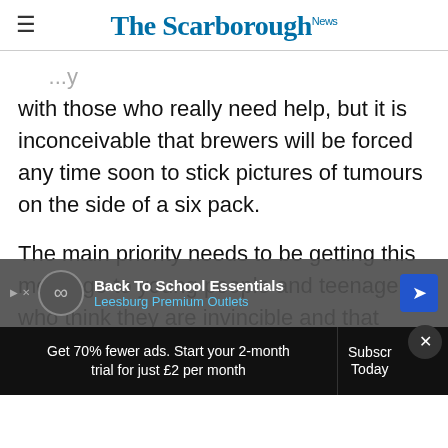The Scarborough News
with those who really need help, but it is inconceivable that brewers will be forced any time soon to stick pictures of tumours on the side of a six pack.
The main priority needs to be getting this message to young people and teenagers who think they are invincible and that boozy nights and r... life well lived.
[Figure (screenshot): Advertisement banner: Back To School Essentials – Leesburg Premium Outlets]
Get 70% fewer ads. Start your 2-month trial for just £2 per month   Subscribe Today